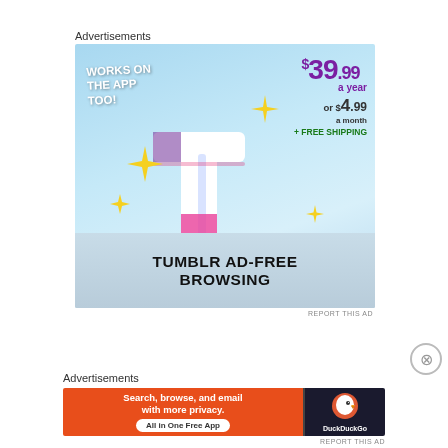Advertisements
[Figure (illustration): Tumblr Ad-Free Browsing advertisement. Sky blue background with Tumblr 't' logo, sparkles, text 'WORKS ON THE APP TOO!', pricing '$39.99 a year or $4.99 a month + FREE SHIPPING', and 'TUMBLR AD-FREE BROWSING' at the bottom.]
REPORT THIS AD
Advertisements
[Figure (illustration): DuckDuckGo advertisement. Orange background with text 'Search, browse, and email with more privacy. All in One Free App' and DuckDuckGo logo on dark background.]
REPORT THIS AD